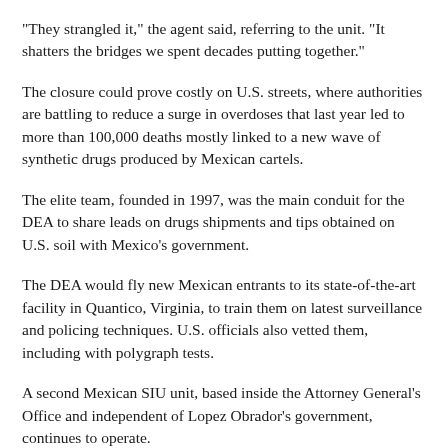"They strangled it," the agent said, referring to the unit. "It shatters the bridges we spent decades putting together."
The closure could prove costly on U.S. streets, where authorities are battling to reduce a surge in overdoses that last year led to more than 100,000 deaths mostly linked to a new wave of synthetic drugs produced by Mexican cartels.
The elite team, founded in 1997, was the main conduit for the DEA to share leads on drugs shipments and tips obtained on U.S. soil with Mexico's government.
The DEA would fly new Mexican entrants to its state-of-the-art facility in Quantico, Virginia, to train them on latest surveillance and policing techniques. U.S. officials also vetted them, including with polygraph tests.
A second Mexican SIU unit, based inside the Attorney General's Office and independent of Lopez Obrador's government, continues to operate.
For Mike Vigil, the DEA's former chief of international operations, the SIU closure and Lopez Obrador's curbing of